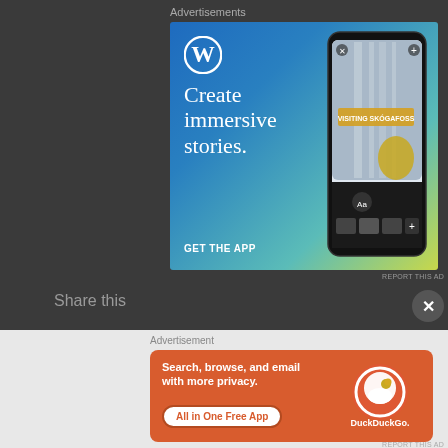Advertisements
[Figure (screenshot): WordPress advertisement banner with blue-to-teal-to-yellow gradient background. Features WordPress logo (white circle with W), text 'Create immersive stories.' in white serif font, 'GET THE APP' call-to-action in white sans-serif, and a smartphone mockup showing a travel blog post titled 'VISITING SKÓGAFOSS' with a waterfall and person in yellow jacket photo.]
REPORT THIS AD
Share this
Advertisement
[Figure (screenshot): DuckDuckGo advertisement on orange-red background. Text reads 'Search, browse, and email with more privacy.' with a white pill button 'All in One Free App' and DuckDuckGo logo with branding on the right side.]
REPORT THIS AD